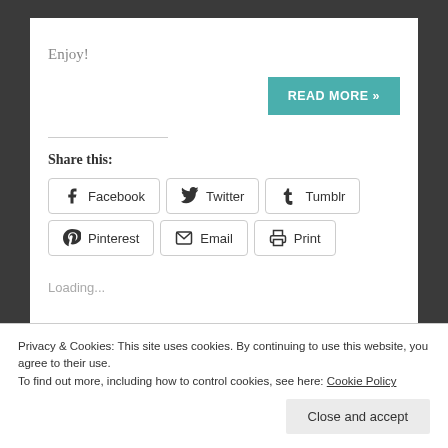Enjoy!
READ MORE »
Share this:
Facebook  Twitter  Tumblr  Pinterest  Email  Print
Loading...
Privacy & Cookies: This site uses cookies. By continuing to use this website, you agree to their use.
To find out more, including how to control cookies, see here: Cookie Policy
Close and accept